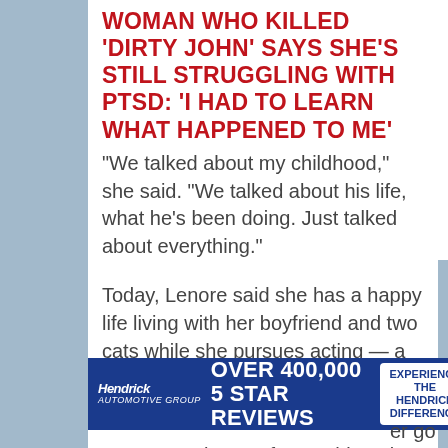WOMAN WHO KILLED 'DIRTY JOHN' SAYS SHE'S STILL STRUGGLING WITH PTSD: 'I HAD TO LEARN WHAT HAPPENED TO ME'
"We talked about my childhood," she said. "We talked about his life, what he's been doing. Just talked about everything."
Today, Lenore said she has a happy life living with her boyfriend and two cats while she pursues acting — a lifelong passion that has proven to be therapeutic.
"You get to let go of everything else, all the nervousness, anxiety and sadness and you get to be somebody else," she said.
[Figure (other): Hendrick automotive advertisement banner: 'OVER 400,000 5 STAR REVIEWS' with 'EXPERIENCE THE HENDRICK DIFFERENCE' button on blue background]
er go